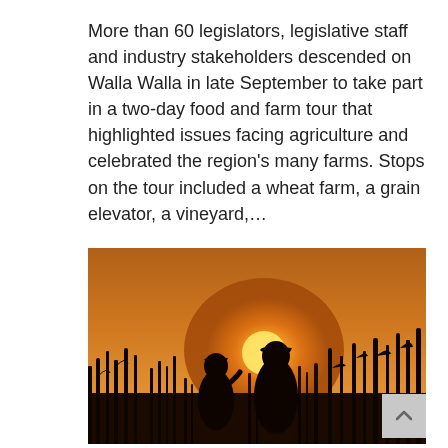More than 60 legislators, legislative staff and industry stakeholders descended on Walla Walla in late September to take part in a two-day food and farm tour that highlighted issues facing agriculture and celebrated the region's many farms. Stops on the tour included a wheat farm, a grain elevator, a vineyard,...
[Figure (photo): Silhouette of two people wearing caps standing in a field of tall grain crops against a warm orange sunset sky. The two figures appear to be examining something held in hand, with the bright sun visible behind them.]